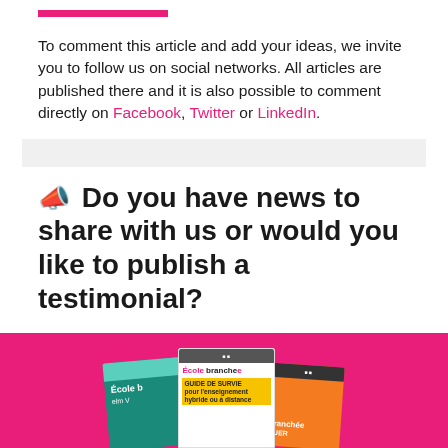[Figure (illustration): Pink horizontal bar decorative element at top]
To comment this article and add your ideas, we invite you to follow us on social networks. All articles are published there and it is also possible to comment directly on Facebook, Twitter or LinkedIn.
[Figure (illustration): Gray horizontal bar separator]
📣 Do you have news to share with us or would you like to publish a testimonial?
Publicize your educational project or share your ideas via our Opinion, Testimonials or Press Releases sections!
Here's how to do it!
[Figure (illustration): Pink banner at bottom with books: École branchée guides and publications displayed on a hot pink background]